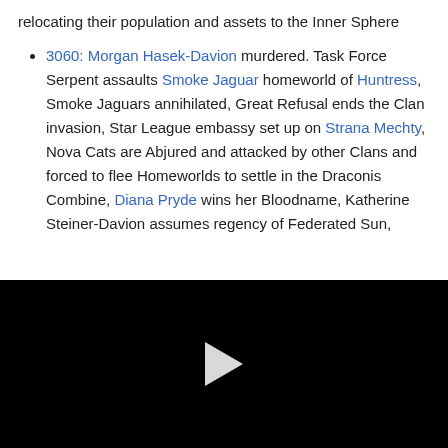relocating their population and assets to the Inner Sphere
3060: Morgan Hasek-Davion murdered. Task Force Serpent assaults Smoke Jaguar homeworld of Huntress, Smoke Jaguars annihilated, Great Refusal ends the Clan invasion, Star League embassy set up on Strana Mechty, Nova Cats are Abjured and attacked by other Clans and forced to flee Homeworlds to settle in the Draconis Combine, Diana Pryde wins her Bloodname, Katherine Steiner-Davion assumes regency of Federated Sun,
[Figure (other): Black video player area with a white play button triangle in the center]